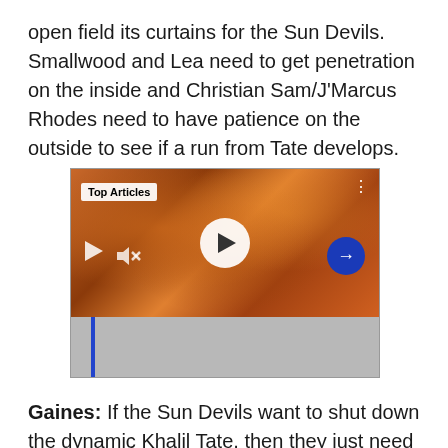open field its curtains for the Sun Devils. Smallwood and Lea need to get penetration on the inside and Christian Sam/J'Marcus Rhodes need to have patience on the outside to see if a run from Tate develops.
[Figure (screenshot): Video player showing a crowd of fans in orange, with a 'Top Articles' label, a large white play button in the center, smaller playback controls, a mute icon, a blue arrow button, and a blue progress bar indicator at the bottom.]
Gaines: If the Sun Devils want to shut down the dynamic Khalil Tate, then they just need to watch